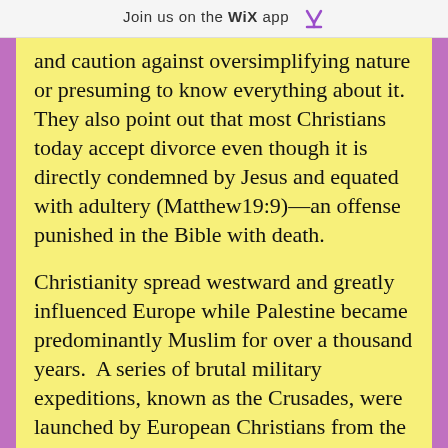Join us on the WiX app ⬇
and caution against oversimplifying nature or presuming to know everything about it.  They also point out that most Christians today accept divorce even though it is directly condemned by Jesus and equated with adultery (Matthew19:9)—an offense punished in the Bible with death.

Christianity spread westward and greatly influenced Europe while Palestine became predominantly Muslim for over a thousand years.  A series of brutal military expeditions, known as the Crusades, were launched by European Christians from the eleventh to the thirteenth century to reclaim Palestine from the Muslims but were ultimately unsuccessful.  The